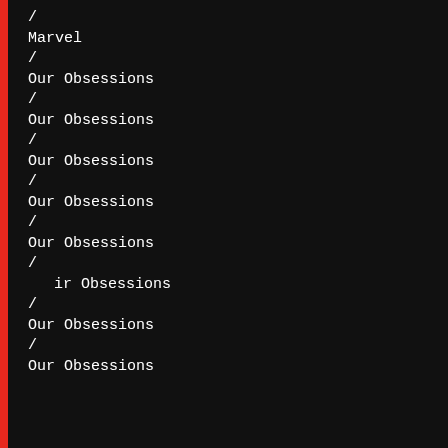/
Marvel
/
Our Obsessions
/
Our Obsessions
/
Our Obsessions
/
Our Obsessions
/
Our Obsessions
/
ir Obsessions
/
Our Obsessions
/
Our Obsessions